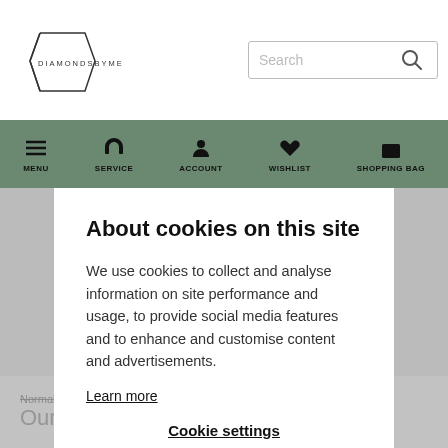[Figure (logo): DiamondsByMe logo with geometric diamond shape outline]
[Figure (screenshot): Search bar with magnifying glass icon]
[Figure (infographic): Navigation bar with icons: MENU (hamburger), SERVICE (headphones), ACCOUNT (person), WISHLIST (heart), SHOPPING BAG (bag)]
About cookies on this site
We use cookies to collect and analyse information on site performance and usage, to provide social media features and to enhance and customise content and advertisements.
Learn more
Cookie settings
Allow all cookies
Normal store price $ 1.875,-
Our price  $ 1.439,-  VAT free